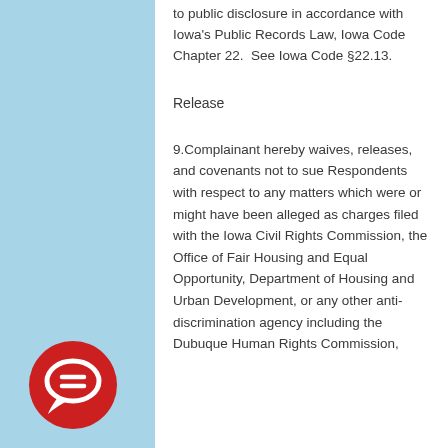to public disclosure in accordance with Iowa's Public Records Law, Iowa Code Chapter 22.  See Iowa Code §22.13.
Release
9.Complainant hereby waives, releases, and covenants not to sue Respondents with respect to any matters which were or might have been alleged as charges filed with the Iowa Civil Rights Commission, the Office of Fair Housing and Equal Opportunity, Department of Housing and Urban Development, or any other anti-discrimination agency including the Dubuque Human Rights Commission,